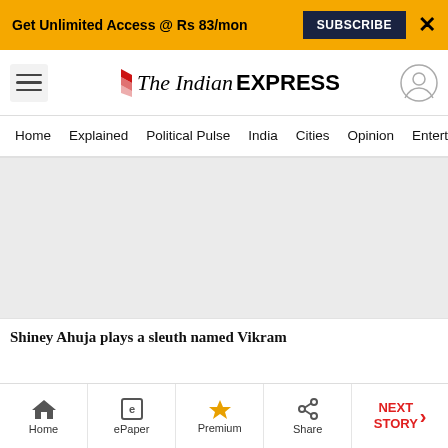Get Unlimited Access @ Rs 83/mon  SUBSCRIBE  X
[Figure (logo): The Indian Express logo with hamburger menu and user icon]
Home  Explained  Political Pulse  India  Cities  Opinion  Entertainment
[Figure (photo): Grey placeholder image area for article photo]
Shiney Ahuja plays a sleuth named Vikram
Home  ePaper  Premium  Share  NEXT STORY